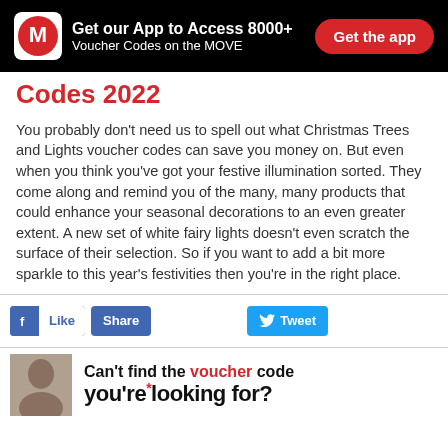[Figure (infographic): Black app download banner with logo, tagline 'Get our App to Access 8000+ Voucher Codes on the MOVE' and red 'Get the app' button]
Codes 2022
You probably don’t need us to spell out what Christmas Trees and Lights voucher codes can save you money on. But even when you think you’ve got your festive illumination sorted. They come along and remind you of the many, many products that could enhance your seasonal decorations to an even greater extent. A new set of white fairy lights doesn’t even scratch the surface of their selection. So if you want to add a bit more sparkle to this year’s festivities then you’re in the right place.
[Figure (infographic): Social sharing buttons: Facebook Like, Share, and Twitter Tweet]
[Figure (infographic): Bottom promo strip with person photo and text 'Can’t find the voucher code you’re looking for?']